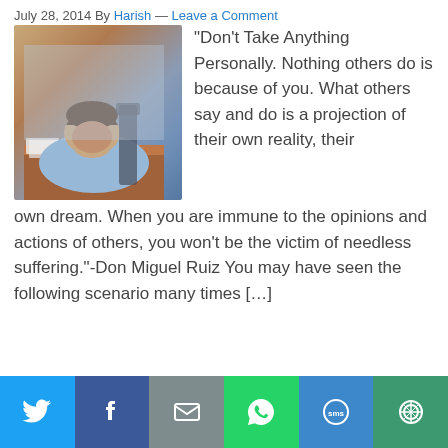July 28, 2014 By Harish — Leave a Comment
[Figure (photo): Person in blue shirt slumped over a desk with head resting on hands, appearing stressed or sleeping]
“Don’t Take Anything Personally. Nothing others do is because of you. What others say and do is a projection of their own reality, their own dream. When you are immune to the opinions and actions of others, you won’t be the victim of needless suffering.”-Don Miguel Ruiz You may have seen the following scenario many times […]
[Figure (infographic): Social sharing bar with Twitter, Facebook, Email, WhatsApp, SMS, and More buttons]